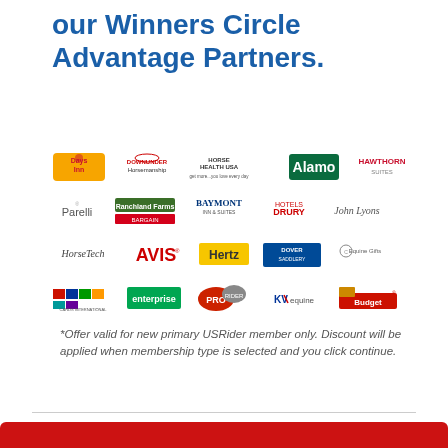our Winners Circle Advantage Partners.
[Figure (logo): Grid of partner brand logos including Days Inn, Drury Hotels, Enterprise, AVIS, Hertz, Alamo, Budget, Baymont, Hawthorn, HorseTech, Horse Health USA, Dover Saddlery, Parelli, Big or Bargain, Equine Gifts, KV Equine, John Lyons, Downunder Horsemanship, Pro, and others.]
*Offer valid for new primary USRider member only. Discount will be applied when membership type is selected and you click continue.